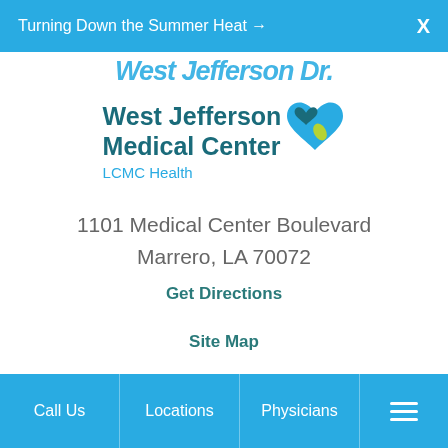Turning Down the Summer Heat → X
[Figure (logo): West Jefferson Medical Center LCMC Health logo with teal heart/leaf icon]
1101 Medical Center Boulevard
Marrero, LA 70072
Get Directions
Site Map
Copyright © 2022   Disclaimer
Call Us   Locations   Physicians   ☰